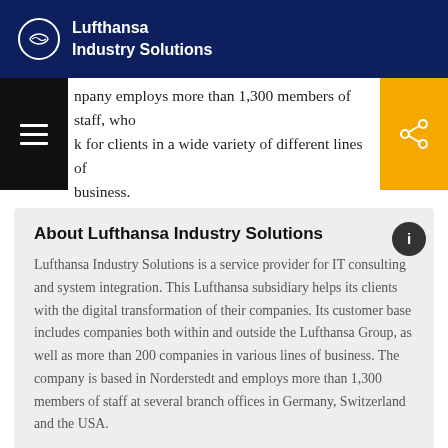Lufthansa Industry Solutions
npany employs more than 1,300 members of staff, who k for clients in a wide variety of different lines of business.
About Lufthansa Industry Solutions
Lufthansa Industry Solutions is a service provider for IT consulting and system integration. This Lufthansa subsidiary helps its clients with the digital transformation of their companies. Its customer base includes companies both within and outside the Lufthansa Group, as well as more than 200 companies in various lines of business. The company is based in Norderstedt and employs more than 1,300 members of staff at several branch offices in Germany, Switzerland and the USA.